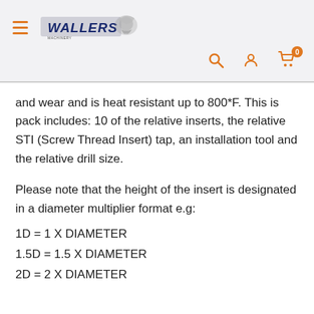Wallers Machinery header with hamburger menu, logo, search, account, and cart icons
and wear and is heat resistant up to 800*F. This is pack includes: 10 of the relative inserts, the relative STI (Screw Thread Insert) tap, an installation tool and the relative drill size.
Please note that the height of the insert is designated in a diameter multiplier format e.g:
1D = 1 X DIAMETER
1.5D = 1.5 X DIAMETER
2D = 2 X DIAMETER